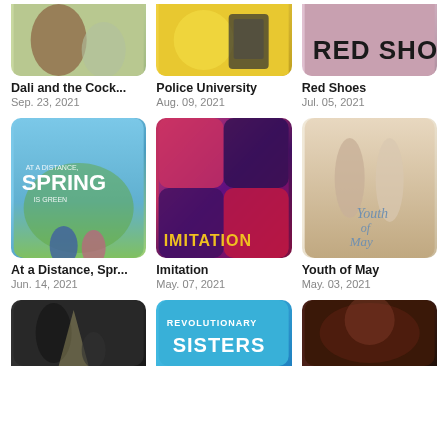[Figure (photo): Dali and the Cocky Prince show thumbnail (partial, top cut off)]
[Figure (photo): Police University show thumbnail (partial, top cut off)]
[Figure (photo): Red Shoes show thumbnail (partial, top cut off)]
Dali and the Cock...
Sep. 23, 2021
Police University
Aug. 09, 2021
Red Shoes
Jul. 05, 2021
[Figure (photo): At a Distance, Spring is Green show thumbnail]
[Figure (photo): Imitation show thumbnail]
[Figure (photo): Youth of May show thumbnail]
At a Distance, Spr...
Jun. 14, 2021
Imitation
May. 07, 2021
Youth of May
May. 03, 2021
[Figure (photo): Dark drama show thumbnail (partial, bottom cut off)]
[Figure (photo): Revolutionary Sisters show thumbnail (partial, bottom cut off)]
[Figure (photo): Dark show thumbnail (partial, bottom cut off)]